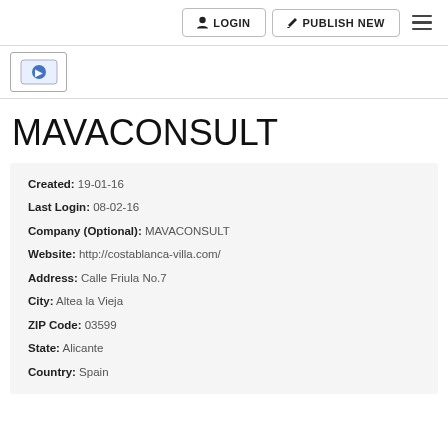LOGIN  PUBLISH NEW
[Figure (logo): Small logo placeholder with blue icon]
MAVACONSULT
Created: 19-01-16
Last Login: 08-02-16
Company (Optional): MAVACONSULT
Website: http://costablanca-villa.com/
Address: Calle Friula No.7
City: Altea la Vieja
ZIP Code: 03599
State: Alicante
Country: Spain